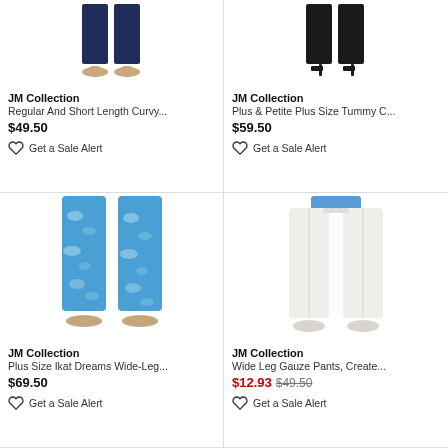[Figure (photo): Bottom half of model wearing navy/dark blue pants with beige low-heeled shoes]
JM Collection
Regular And Short Length Curvy...
$49.50
Get a Sale Alert
[Figure (photo): Bottom half of model wearing black pants with black heeled sandals]
JM Collection
Plus & Petite Plus Size Tummy C...
$59.50
Get a Sale Alert
[Figure (photo): Full view of model wearing blue ikat print wide-leg pants with sandals]
JM Collection
Plus Size Ikat Dreams Wide-Leg...
$69.50
Get a Sale Alert
[Figure (photo): Full view of model wearing white wide-leg linen pants with blue top]
JM Collection
Wide Leg Gauze Pants, Create...
$12.93 $49.50
Get a Sale Alert